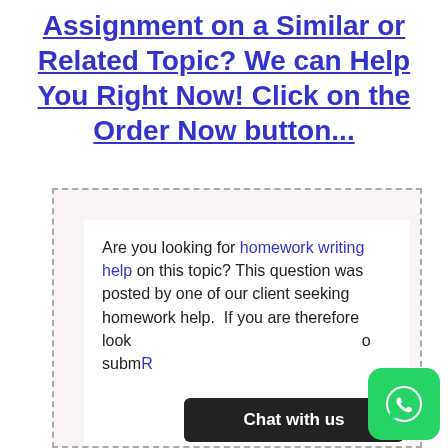Assignment on a Similar or Related Topic? We can Help You Right Now! Click on the Order Now button...
Are you looking for homework writing help on this topic? This question was posted by one of our client seeking homework help. If you are therefore looking to submit...